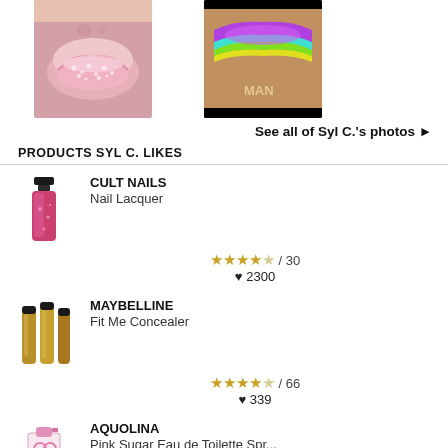[Figure (photo): Close-up of lips covered in pink glitter/crystals]
[Figure (photo): Colorful rainbow eyeshadow makeup look with purple, teal, green, yellow]
See all of Syl C.'s photos ▶
PRODUCTS SYL C. LIKES
[Figure (photo): Cult Nails nail lacquer bottle, pink glitter]
CULT NAILS
Nail Lacquer
★★★★☆ / 30
♥ 2300
[Figure (photo): Maybelline Fit Me Concealer product image with three concealer tubes]
MAYBELLINE
Fit Me Concealer
★★★★☆ / 66
♥ 339
[Figure (photo): Aquolina Pink Sugar Eau de Toilette spray bottle]
AQUOLINA
Pink Sugar Eau de Toilette Spr...
★★★★★ / 15